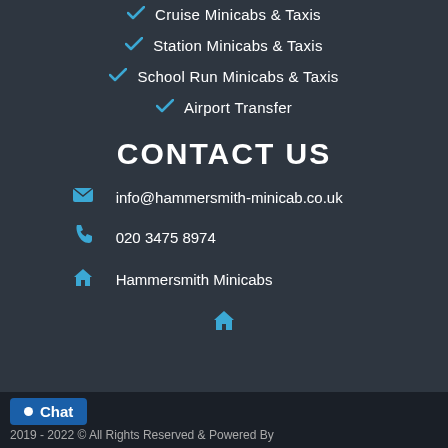Cruise Minicabs & Taxis
Station Minicabs & Taxis
School Run Minicabs & Taxis
Airport Transfer
CONTACT US
info@hammersmith-minicab.co.uk
020 3475 8974
Hammersmith Minicabs
[Figure (other): Home icon]
Chat   2019 - 2022 © All Rights Reserved & Powered By